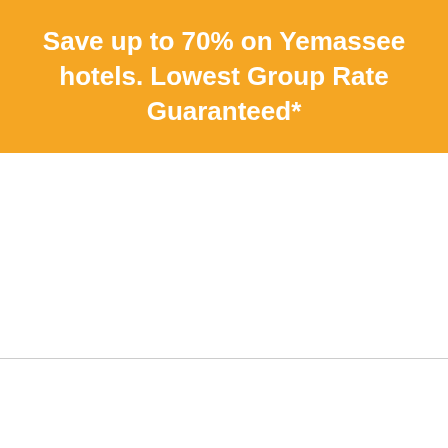Save up to 70% on Yemassee hotels. Lowest Group Rate Guaranteed*